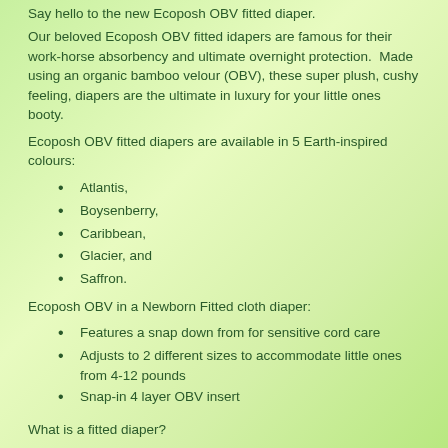Say hello to the new Ecoposh OBV fitted diaper.
Our beloved Ecoposh OBV fitted idapers are famous for their work-horse absorbency and ultimate overnight protection.  Made using an organic bamboo velour (OBV), these super plush, cushy feeling, diapers are the ultimate in luxury for your little ones booty.
Ecoposh OBV fitted diapers are available in 5 Earth-inspired colours:
Atlantis,
Boysenberry,
Caribbean,
Glacier, and
Saffron.
Ecoposh OBV in a Newborn Fitted cloth diaper:
Features a snap down from for sensitive cord care
Adjusts to 2 different sizes to accommodate little ones from 4-12 pounds
Snap-in 4 layer OBV insert
What is a fitted diaper?